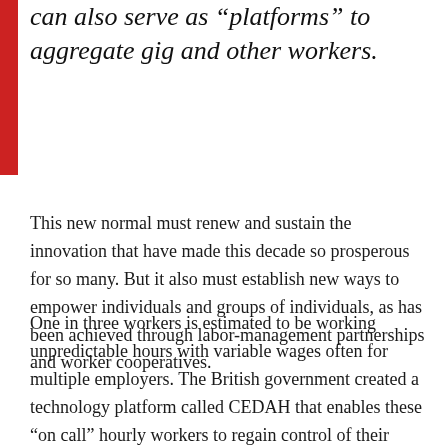can also serve as "platforms" to aggregate gig and other workers.
This new normal must renew and sustain the innovation that have made this decade so prosperous for so many. But it also must establish new ways to empower individuals and groups of individuals, as has been achieved through labor-management partnerships and worker cooperatives.
One in three workers is estimated to be working unpredictable hours with variable wages often for multiple employers. The British government created a technology platform called CEDAH that enables these “on call” hourly workers to regain control of their work schedules by selecting hours from multiple employers seeking their skills. Pacific Gateway, the workforce board in Long Beach, is partnering with four national